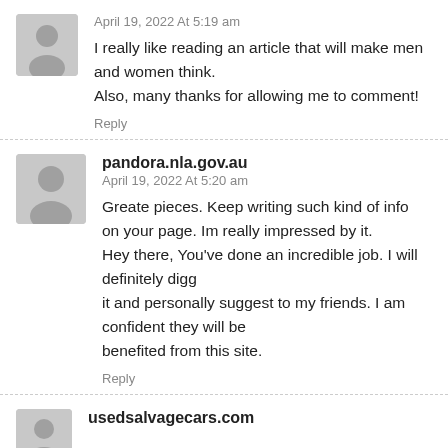April 19, 2022 At 5:19 am
I really like reading an article that will make men and women think.
Also, many thanks for allowing me to comment!
Reply
pandora.nla.gov.au
April 19, 2022 At 5:20 am
Greate pieces. Keep writing such kind of info on your page. Im really impressed by it.
Hey there, You've done an incredible job. I will definitely digg
it and personally suggest to my friends. I am confident they will be
benefited from this site.
Reply
usedsalvagecars.com